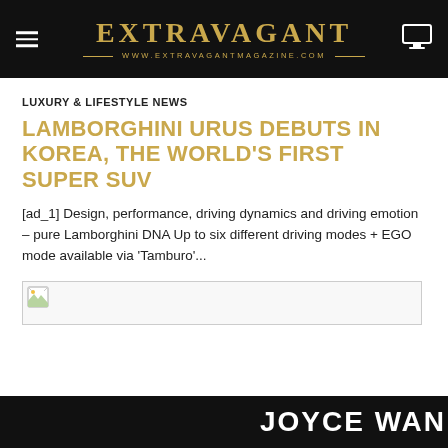EXTRAVAGANT — WWW.EXTRAVAGANTMAGAZINE.COM
LUXURY & LIFESTYLE NEWS
LAMBORGHINI URUS DEBUTS IN KOREA, THE WORLD'S FIRST SUPER SUV
[ad_1] Design, performance, driving dynamics and driving emotion – pure Lamborghini DNA Up to six different driving modes + EGO mode available via 'Tamburo'...
[Figure (photo): Broken/missing image placeholder for article photo]
JOYCE WANG